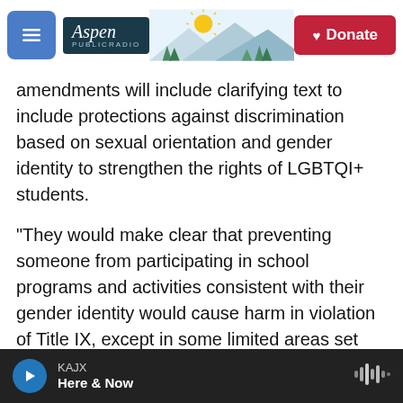Aspen Public Radio — Header with Donate button
amendments will include clarifying text to include protections against discrimination based on sexual orientation and gender identity to strengthen the rights of LGBTQI+ students.
"They would make clear that preventing someone from participating in school programs and activities consistent with their gender identity would cause harm in violation of Title IX, except in some limited areas set out in the statute or regulations," the department said.
The department also said it plans to issue a
KAJX Here & Now